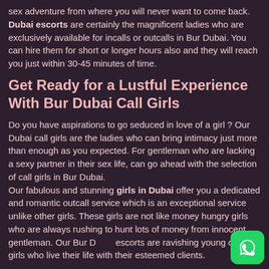sex adventure from where you will never want to come back. Dubai escorts are certainly the magnificent ladies who are exclusively available for incalls or outcalls in Bur Dubai. You can hire them for short or longer hours also and they will reach you just within 30-45 minutes of time.
Get Ready for a Lustful Experience With Bur Dubai Call Girls
Do you have aspirations to go seduced in love of a girl ? Our Dubai call girls are the ladies who can bring intimacy just more than enough as you expected. For gentleman who are lacking a sexy partner in their sex life, can go ahead with the selection of call girls in Bur Dubai.
Our fabulous and stunning girls in Dubai offer you a dedicated and romantic outcall service which is an exceptional service unlike other girls. These girls are not like money hungry girls who are always rushing to hunt lots of money from innocent gentleman. Our Bur Dubai escorts are ravishing young call girls who live their life with their esteemed clients.
[Figure (logo): WhatsApp button icon, green rounded square with white phone/chat logo]